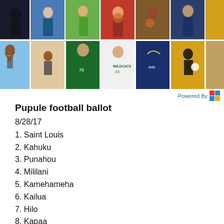[Figure (photo): Collage of sports photos showing athletes in various sports including basketball, football, volleyball, and track. Two rows of approximately 6 photos each showing high school athletes in action.]
Powered By
Pupule football ballot
8/28/17
1. Saint Louis
2. Kahuku
3. Punahou
4. Mililani
5. Kamehameha
6. Kailua
7. Hilo
8. Kapaa
9. Lahainaluna